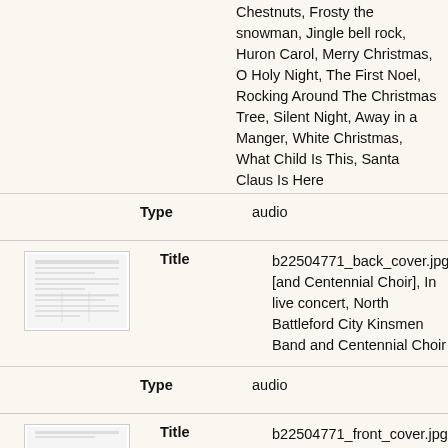Chestnuts, Frosty the snowman, Jingle bell rock, Huron Carol, Merry Christmas, O Holy Night, The First Noel, Rocking Around The Christmas Tree, Silent Night, Away in a Manger, White Christmas, What Child Is This, Santa Claus Is Here
Type: audio
[Figure (photo): Thumbnail image of b22504771_back_cover.jpg showing a document with text]
Title: b22504771_back_cover.jpg: [and Centennial Choir], In live concert, North Battleford City Kinsmen Band and Centennial Choir
Type: audio
[Figure (photo): Thumbnail image of b22504771_front_cover.jpg showing a document with a green and yellow wavy logo]
Title: b22504771_front_cover.jpg: [and Centennial Choir], In live concert, North Battleford City Kinsmen Band and Centennial Choir